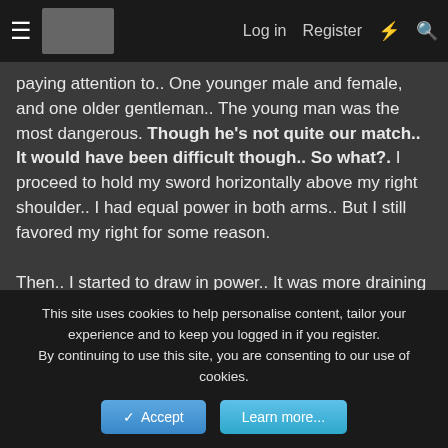≡  [logo]  Log in  Register  ⚡  🔍
paying attention to.. One younger male and female, and one older gentleman.. The young man was the most dangerous. Though he's not quite our match.. It would have been difficult though.. So what?. I proceed to hold my sword horizontally above my right shoulder.. I had equal power in both arms.. But I still favored my right for some reason.

Then.. I started to draw in power.. It was more draining than it should have been, I was very close to collapse.. But as I drew on my strength, my sword started to change.. Its blade started to turn black, power radiating off it already, but I wasn't finished.. The black blade started to take on a pattern, then color started to appear on it.. It was a slightly different colour than usual.. The blood stains that were already on the sword almost seemed to mix with the reddish light that were now coming from it. Turning
This site uses cookies to help personalise content, tailor your experience and to keep you logged in if you register.
By continuing to use this site, you are consenting to our use of cookies.
Accept   Learn more...